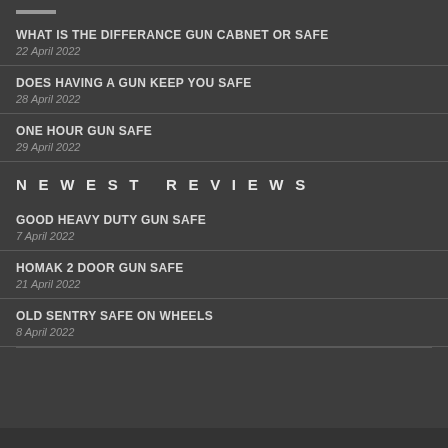WHAT IS THE DIFFERANCE GUN CABNET OR SAFE
22 April 2022
DOES HAVING A GUN KEEP YOU SAFE
28 April 2022
ONE HOUR GUN SAFE
29 April 2022
NEWEST REVIEWS
GOOD HEAVY DUTY GUN SAFE
7 April 2022
HOMAK 2 DOOR GUN SAFE
21 April 2022
OLD SENTRY SAFE ON WHEELS
8 April 2022